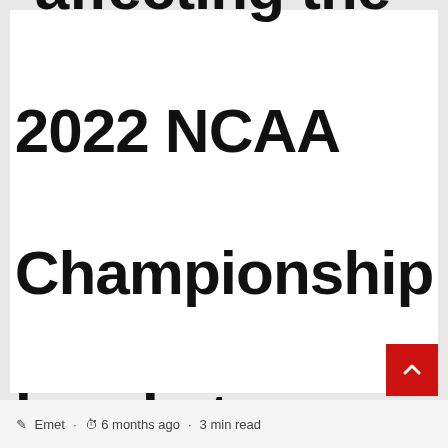affecting the 2022 NCAA Championship bracket
Emet · 6 months ago · 3 min read